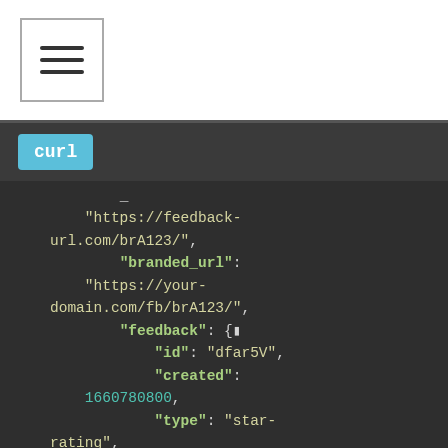[Figure (screenshot): Menu hamburger button icon in top-left corner]
curl
"https://feedback-url.com/brA123/",
        "branded_url": "https://your-domain.com/fb/brA123/",
        "feedback": {
            "id": "dfar5V",
            "created": 1660780800,
            "type": "star-rating",
            "nps-score": null,
            "star-rating": 4,
            "happy": null,
            "comments": null,
            "platform_name":